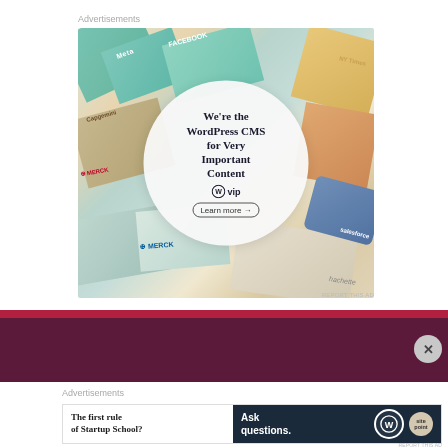Advertisements
[Figure (illustration): WordPress VIP advertisement showing colorful branded cards (Meta, Facebook, Merck, Hachette, Salesforce, Capgemini) arranged around a central white circle containing text 'We're the WordPress CMS for Very Important Content' with WordPress VIP logo and 'Learn more →' button]
REPORT THIS AD
[Figure (illustration): Dark maroon/burgundy banner advertisement with a close/X button on the right side]
Advertisements
[Figure (illustration): Bottom advertisement split into two parts: left white section with bold text 'The first rule of Startup School?' and right dark navy section with text 'Ask questions.' alongside WordPress and SitePoint logos]